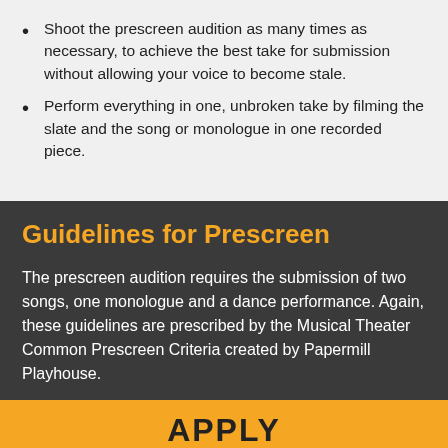Shoot the prescreen audition as many times as necessary, to achieve the best take for submission without allowing your voice to become stale.
Perform everything in one, unbroken take by filming the slate and the song or monologue in one recorded piece.
Guidelines for Prescreen
The prescreen audition requires the submission of two songs, one monologue and a dance performance. Again, these guidelines are prescribed by the Musical Theater Common Prescreen Criteria created by Papermill Playhouse.
APPLY